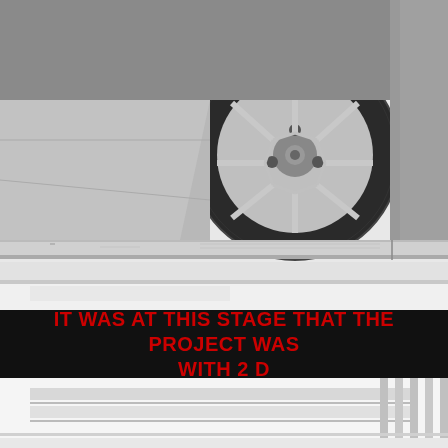[Figure (photo): Black and white photograph of the underside of a sports car (showing rear wheel with multi-spoke alloy wheel) positioned on what appears to be a wind tunnel or test rig platform/rolling road surface. The car body and wheel arch are visible from below.]
IT WAS AT THIS STAGE THAT THE PROJECT WAS WITH 2 D
[Figure (photo): Black and white photograph showing what appears to be a lower portion of a car body or panel in a testing environment, partially cropped at bottom of page.]